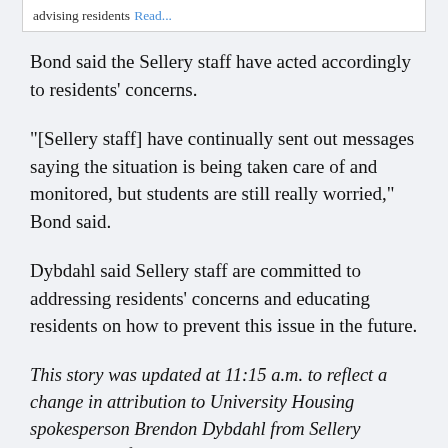advising residents Read...
Bond said the Sellery staff have acted accordingly to residents' concerns.
“[Sellery staff] have continually sent out messages saying the situation is being taken care of and monitored, but students are still really worried,” Bond said.
Dybdahl said Sellery staff are committed to addressing residents’ concerns and educating residents on how to prevent this issue in the future.
This story was updated at 11:15 a.m. to reflect a change in attribution to University Housing spokesperson Brendon Dybdahl from Sellery Residence Life Coordinator Naeelah Chism. Wording in the subhead and second paragraph was also updated to clarify there